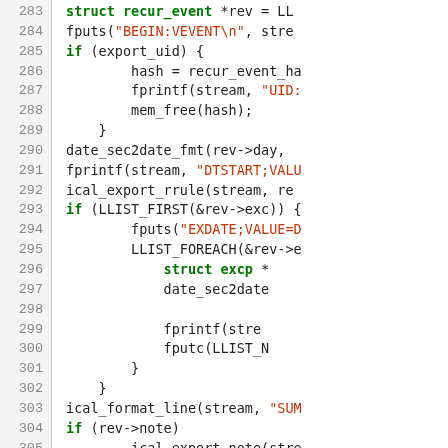[Figure (screenshot): Source code listing showing C code for exporting calendar events in iCal format, lines 283-309, with syntax highlighting: keywords in bold green, string literals in red/orange, normal code in dark/black.]